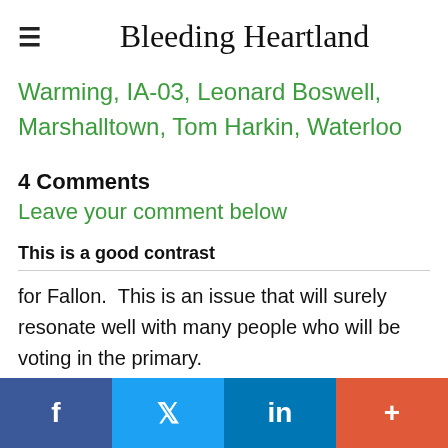≡  Bleeding Heartland
Warming, IA-03, Leonard Boswell, Marshalltown, Tom Harkin, Waterloo
4 Comments
Leave your comment below
This is a good contrast
for Fallon.  This is an issue that will surely resonate well with many people who will be voting in the primary.
This is also at the...